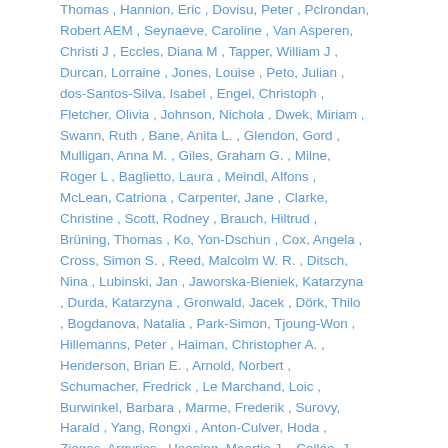Thomas , Hannion, Eric , Dovisu, Peter , Pclrondan, Robert AEM , Seynaeve, Caroline , Van Asperen, Christi J , Eccles, Diana M , Tapper, William J , Durcan, Lorraine , Jones, Louise , Peto, Julian , dos-Santos-Silva, Isabel , Engel, Christoph , Fletcher, Olivia , Johnson, Nichola , Dwek, Miriam , Swann, Ruth , Bane, Anita L. , Glendon, Gord , Mulligan, Anna M. , Giles, Graham G. , Milne, Roger L , Baglietto, Laura , Meindl, Alfons , McLean, Catriona , Carpenter, Jane , Clarke, Christine , Scott, Rodney , Brauch, Hiltrud , Brüning, Thomas , Ko, Yon-Dschun , Cox, Angela , Cross, Simon S. , Reed, Malcolm W. R. , Ditsch, Nina , Lubinski, Jan , Jaworska-Bieniek, Katarzyna , Durda, Katarzyna , Gronwald, Jacek , Dörk, Thilo , Bogdanova, Natalia , Park-Simon, Tjoung-Won , Hillemanns, Peter , Haiman, Christopher A. , Henderson, Brian E. , Arnold, Norbert , Schumacher, Fredrick , Le Marchand, Loic , Burwinkel, Barbara , Marme, Frederik , Surovy, Harald , Yang, Rongxi , Anton-Culver, Hoda , Ziogas, Argyrios , Hooning, Maartje J. , Collée, J. Margriet , Plendl, Hansjoerg , Martens, John W. M.